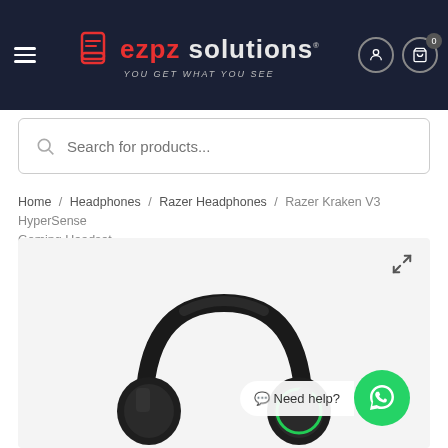[Figure (screenshot): EZPZ Solutions e-commerce website header with logo, hamburger menu, user icon, and cart icon on dark navy background]
[Figure (screenshot): Search bar with placeholder text 'Search for products...']
Home / Headphones / Razer Headphones / Razer Kraken V3 HyperSense Gaming Headset
[Figure (photo): Razer Kraken V3 HyperSense Gaming Headset product photo — black gaming headset with green accent ring on white/light grey background. Expand icon in top-right corner. WhatsApp 'Need help?' chat bubble in bottom-right corner.]